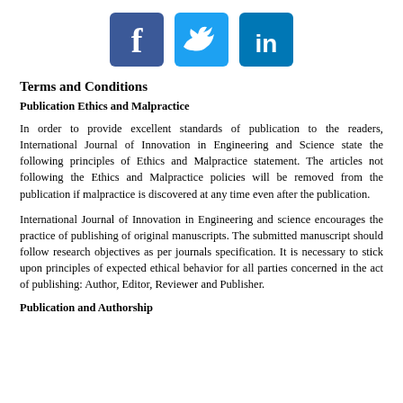[Figure (illustration): Three social media icons: Facebook (blue square with 'f'), Twitter (light blue square with bird), LinkedIn (teal square with 'in')]
Terms and Conditions
Publication Ethics and Malpractice
In order to provide excellent standards of publication to the readers, International Journal of Innovation in Engineering and Science state the following principles of Ethics and Malpractice statement. The articles not following the Ethics and Malpractice policies will be removed from the publication if malpractice is discovered at any time even after the publication.
International Journal of Innovation in Engineering and science encourages the practice of publishing of original manuscripts. The submitted manuscript should follow research objectives as per journals specification. It is necessary to stick upon principles of expected ethical behavior for all parties concerned in the act of publishing: Author, Editor, Reviewer and Publisher.
Publication and Authorship